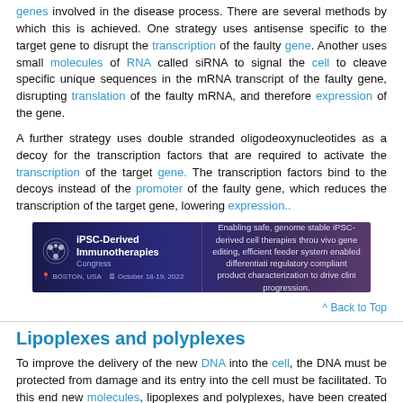genes involved in the disease process. There are several methods by which this is achieved. One strategy uses antisense specific to the target gene to disrupt the transcription of the faulty gene. Another uses small molecules of RNA called siRNA to signal the cell to cleave specific unique sequences in the mRNA transcript of the faulty gene, disrupting translation of the faulty mRNA, and therefore expression of the gene.
A further strategy uses double stranded oligodeoxynucleotides as a decoy for the transcription factors that are required to activate the transcription of the target gene. The transcription factors bind to the decoys instead of the promoter of the faulty gene, which reduces the transcription of the target gene, lowering expression..
[Figure (infographic): iPSC-Derived Immunotherapies Congress advertisement banner. Dark blue/purple background. Left: circular logo with molecule graphics, text reading iPSC-Derived Immunotherapies Congress, Boston USA, October 18-19, 2022. Right: text about enabling safe, genome stable iPSC-derived cell therapies through vivo gene editing, efficient feeder system enabled differentiation, regulatory compliant product characterization to drive clinical progression.]
^ Back to Top
Lipoplexes and polyplexes
To improve the delivery of the new DNA into the cell, the DNA must be protected from damage and its entry into the cell must be facilitated. To this end new molecules, lipoplexes and polyplexes, have been created that have the ability to protect the DNA from undesirable degradation during the transfection process.
Plasmid DNA can be covered with lipids in an organized structure like a micelle or a liposome. When the organized structure is complexed with DNA it is called a lipoplex. There are three types of lipids, anionic (negatively charged), neutral, or cationic (positively charged). Initially, anionic and neutral